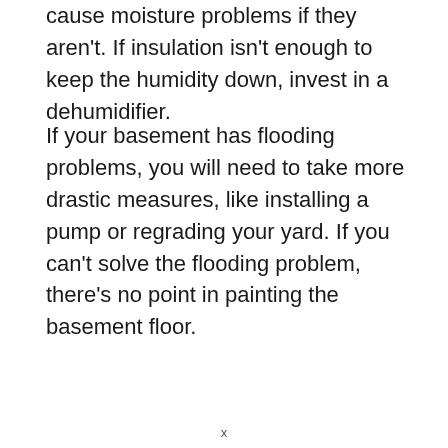cause moisture problems if they aren't. If insulation isn't enough to keep the humidity down, invest in a dehumidifier.
If your basement has flooding problems, you will need to take more drastic measures, like installing a pump or regrading your yard. If you can't solve the flooding problem, there's no point in painting the basement floor.
x